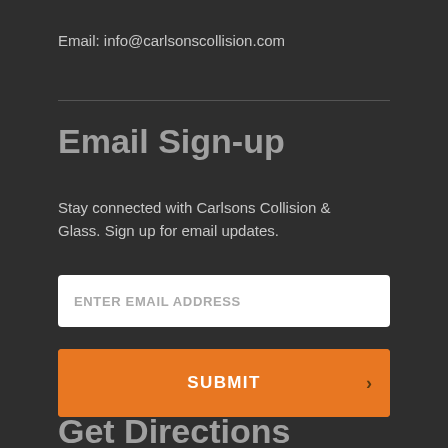Email: info@carlsonscollision.com
Email Sign-up
Stay connected with Carlsons Collision & Glass. Sign up for email updates.
ENTER EMAIL ADDRESS
SUBMIT
Get Directions